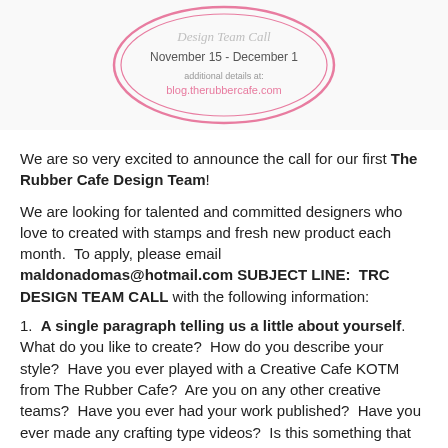[Figure (illustration): Pink circular badge/stamp graphic with text 'November 15 - December 1' and 'additional details at: blog.therubbercafe.com']
We are so very excited to announce the call for our first The Rubber Cafe Design Team!
We are looking for talented and committed designers who love to created with stamps and fresh new product each month.  To apply, please email maldonadomas@hotmail.com SUBJECT LINE:  TRC DESIGN TEAM CALL with the following information:
1.  A single paragraph telling us a little about yourself.  What do you like to create?  How do you describe your style?  Have you ever played with a Creative Cafe KOTM from The Rubber Cafe?  Are you on any other creative teams?  Have you ever had your work published?  Have you ever made any crafting type videos?  Is this something that you can do?  Please include your name and hometown.  We are trying to get a good sense of who you are and your crafting history.  previous design team is not required.